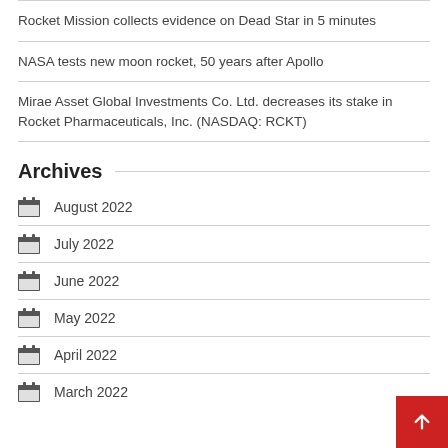Rocket Mission collects evidence on Dead Star in 5 minutes
NASA tests new moon rocket, 50 years after Apollo
Mirae Asset Global Investments Co. Ltd. decreases its stake in Rocket Pharmaceuticals, Inc. (NASDAQ: RCKT)
Archives
August 2022
July 2022
June 2022
May 2022
April 2022
March 2022